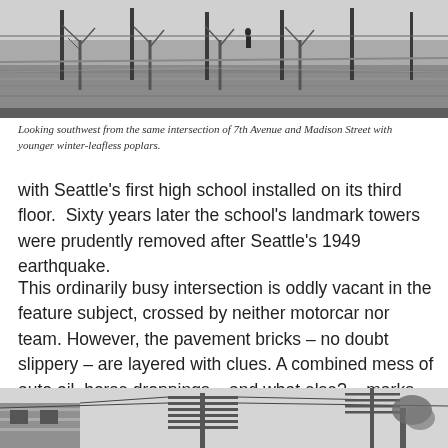[Figure (photo): Black and white historical photograph looking southwest from the intersection of 7th Avenue and Madison Street, showing a wet street with younger winter-leafless poplar trees lining the sidewalk, and a lone figure in the background.]
Looking southwest from the same intersection of 7th Avenue and Madison Street with younger winter-leafless poplars.
with Seattle’s first high school installed on its third floor.  Sixty years later the school’s landmark towers were prudently removed after Seattle’s 1949 earthquake.
This ordinarily busy intersection is oddly vacant in the feature subject, crossed by neither motorcar nor team. However, the pavement bricks – no doubt slippery – are layered with clues. A combined mess of auto oil, horse droppings – and what else? – marks them.
[Figure (photo): Black and white historical photograph showing the upper portion of a building with telegraph or utility poles and wires visible against an open sky, with a tree partially visible on the right side.]